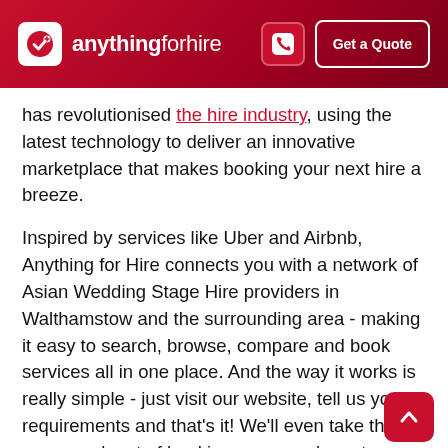anythingforhire — Get a Quote
has revolutionised the hire industry, using the latest technology to deliver an innovative marketplace that makes booking your next hire a breeze.
Inspired by services like Uber and Airbnb, Anything for Hire connects you with a network of Asian Wedding Stage Hire providers in Walthamstow and the surrounding area - making it easy to search, browse, compare and book services all in one place. And the way it works is really simple - just visit our website, tell us your requirements and that's it! We'll even take the guesswork out of booking, as we only partner with trustworthy organisations that we know deliver the highest quality results.
Of course, 4, 6 & 8 Pillar Wedding Mandap covers a br